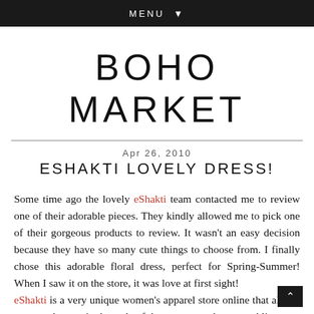MENU ▼
BOHO MARKET
Apr 26, 2010
ESHAKTI LOVELY DRESS!
Some time ago the lovely eShakti team contacted me to review one of their adorable pieces. They kindly allowed me to pick one of their gorgeous products to review. It wasn't an easy decision because they have so many cute things to choose from. I finally chose this adorable floral dress, perfect for Spring-Summer! When I saw it on the store, it was love at first sight! eShakti is a very unique women's apparel store online that allows custom changes in the style of the garment - sleeve, neckline,